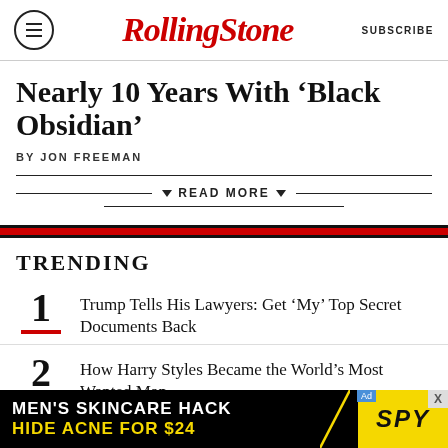RollingStone | SUBSCRIBE
Nearly 10 Years With ‘Black Obsidian’
BY JON FREEMAN
READ MORE
TRENDING
1 Trump Tells His Lawyers: Get ‘My’ Top Secret Documents Back
2 How Harry Styles Became the World’s Most Wanted Man
[Figure (other): Advertisement banner: MEN'S SKINCARE HACK / HIDE ACNE FOR $24 / SPY logo]